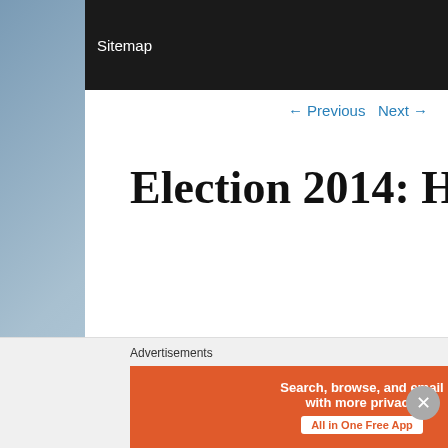Sitemap
← Previous   Next →
Election 2014: How India Votes?
Posted on April 7, 2014
Parliamentary Elections in India in 2014.
Advertisements
Search, browse, and email with more privacy. All in One Free App